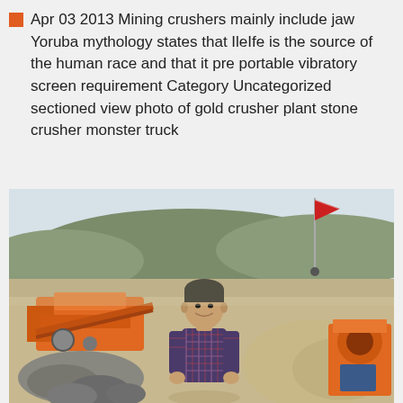Apr 03 2013 Mining crushers mainly include jaw Yoruba mythology states that IleIfe is the source of the human race and that it pre portable vibratory screen requirement Category Uncategorized sectioned view photo of gold crusher plant stone crusher monster truck
[Figure (photo): Photo of a man standing at a mining/stone crusher plant site with orange machinery, rock piles, hilly terrain in the background, and a red flag visible on a pole.]